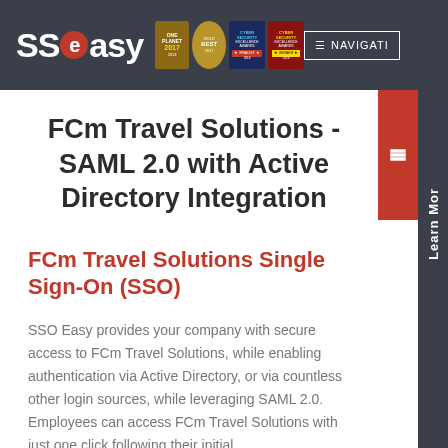SSOeasy | NAVIGATION | Learn More
FCm Travel Solutions - SAML 2.0 with Active Directory Integration
FCm Travel Solutions Single Sign-On (SSO)
SSO Easy provides your company with secure access to FCm Travel Solutions, while enabling authentication via Active Directory, or via countless other login sources, while leveraging SAML 2.0. Employees can access FCm Travel Solutions with just one click following their initial